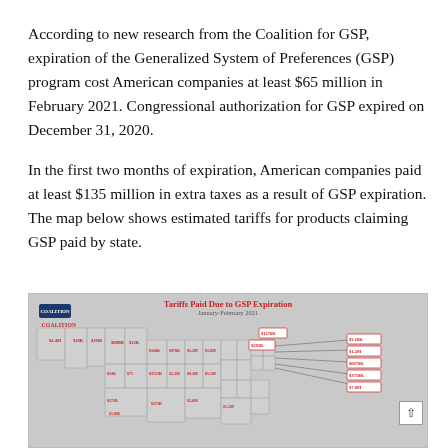According to new research from the Coalition for GSP, expiration of the Generalized System of Preferences (GSP) program cost American companies at least $65 million in February 2021. Congressional authorization for GSP expired on December 31, 2020.
In the first two months of expiration, American companies paid at least $135 million in extra taxes as a result of GSP expiration. The map below shows estimated tariffs for products claiming GSP paid by state.
[Figure (map): US map titled 'Tariffs Paid Due to GSP Expiration, January-February 2021' showing estimated tariff amounts by state, with values labeled for each state in red. Coalition for GSP logo in upper left. Values include amounts such as $2.4M, $18K, $10M, $3551K, $5671K, $2.2M, $1.6M, $9.3M, $5.5M, $5.0M, $1270K, $295K, $2.16K, $1.2M, $6670K, $3750K, $7.0M, $371B, $1.0M, $100K, $970K, $12.9K among others.]